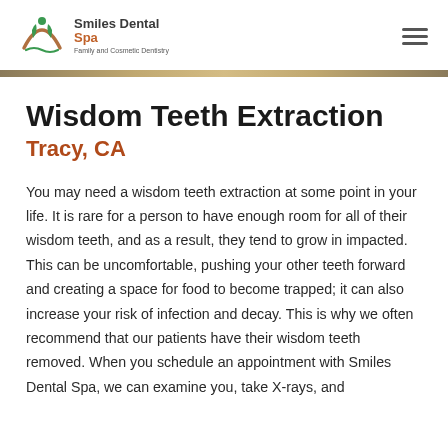Smiles Dental Spa — Family and Cosmetic Dentistry
Wisdom Teeth Extraction
Tracy, CA
You may need a wisdom teeth extraction at some point in your life. It is rare for a person to have enough room for all of their wisdom teeth, and as a result, they tend to grow in impacted. This can be uncomfortable, pushing your other teeth forward and creating a space for food to become trapped; it can also increase your risk of infection and decay. This is why we often recommend that our patients have their wisdom teeth removed. When you schedule an appointment with Smiles Dental Spa, we can examine you, take X-rays, and